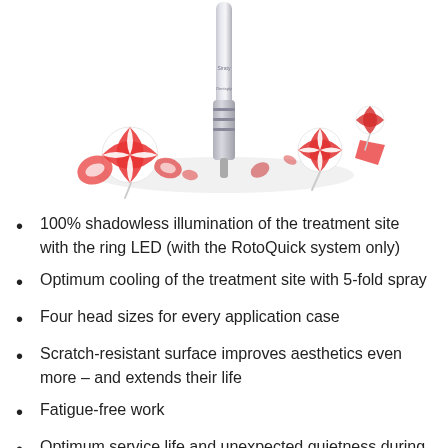[Figure (photo): A dental handpiece standing upright among scattered red and white peppermint candies on a white background]
100% shadowless illumination of the treatment site with the ring LED (with the RotoQuick system only)
Optimum cooling of the treatment site with 5-fold spray
Four head sizes for every application case
Scratch-resistant surface improves aesthetics even more – and extends their life
Fatigue-free work
Optimum service life and unexpected quietness during operation with ceramic ball